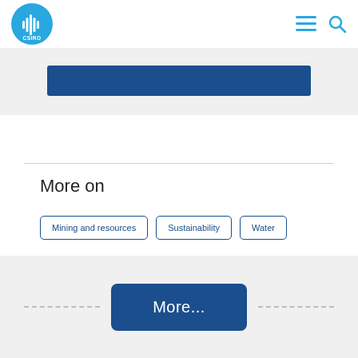CSIRO
[Figure (other): Dark blue horizontal button/bar in a light grey section]
More on
Mining and resources
Sustainability
Water
[Figure (other): More... button centered in a grey banner with dashed lines on either side]